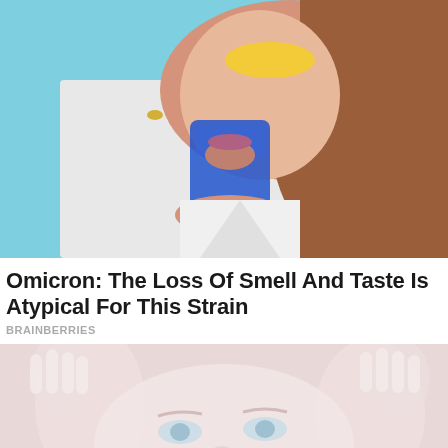[Figure (photo): Close-up photo of a woman with auburn hair and glasses drinking from a blue glass cup against a light blue background]
Omicron: The Loss Of Smell And Taste Is Atypical For This Strain
BRAINBERRIES
[Figure (photo): Faded/washed-out illustration or photo of a woman with blue eyes and hands near her face, light pinkish-white tone]